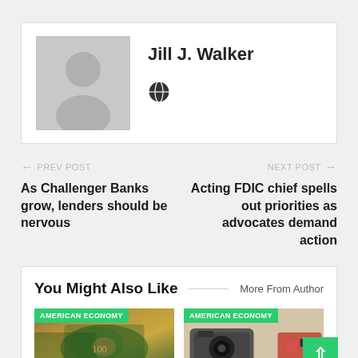[Figure (photo): Author profile box with gray placeholder avatar and name Jill J. Walker with globe icon]
Jill J. Walker
PREV POST ← As Challenger Banks grow, lenders should be nervous
NEXT POST → Acting FDIC chief spells out priorities as advocates demand action
You Might Also Like
More From Author
[Figure (photo): AMERICAN ECONOMY badge over money/dollar bills image]
[Figure (photo): AMERICAN ECONOMY badge over camera and items image]